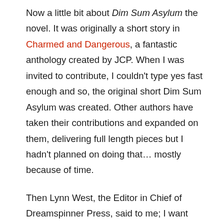Now a little bit about Dim Sum Asylum the novel. It was originally a short story in Charmed and Dangerous, a fantastic anthology created by JCP. When I was invited to contribute, I couldn't type yes fast enough and so, the original short Dim Sum Asylum was created. Other authors have taken their contributions and expanded on them, delivering full length pieces but I hadn't planned on doing that… mostly because of time.
Then Lynn West, the Editor in Chief of Dreamspinner Press, said to me; I want that story. One does not simply turn down Lynn and to be honest, I really enjoyed writing Roku. There was a lot about the world and his life I couldn't fit into the short story and expanding Dim Sum Asylum would give me that chance.
So I folded it into the queue and after a few months of unstitching the short story and weaving in the pieces I'd always longed to put in, Dim Sum Asylum the novel was born. This is my first…